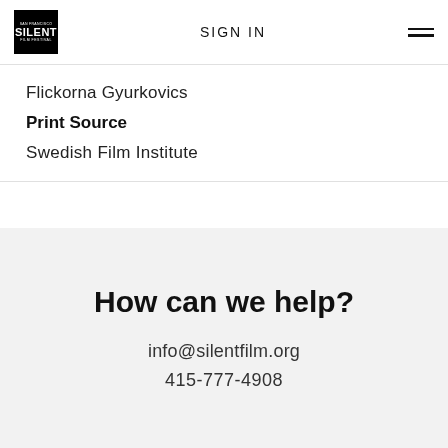SIGN IN
Flickorna Gyurkovics
Print Source
Swedish Film Institute
How can we help?
info@silentfilm.org
415-777-4908